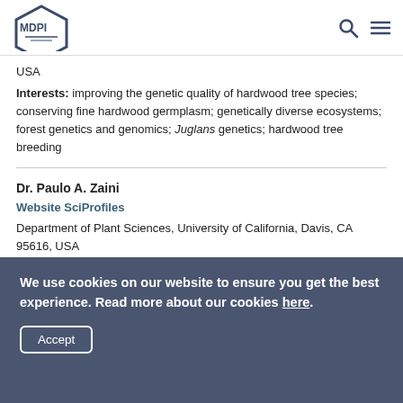MDPI
USA
Interests: improving the genetic quality of hardwood tree species; conserving fine hardwood germplasm; genetically diverse ecosystems; forest genetics and genomics; Juglans genetics; hardwood tree breeding
Dr. Paulo A. Zaini
Website SciProfiles
Department of Plant Sciences, University of California, Davis, CA 95616, USA
Interests: plant-pathogen interaction; plant health; adaptation; omics; genome editing
We use cookies on our website to ensure you get the best experience. Read more about our cookies here.
Accept